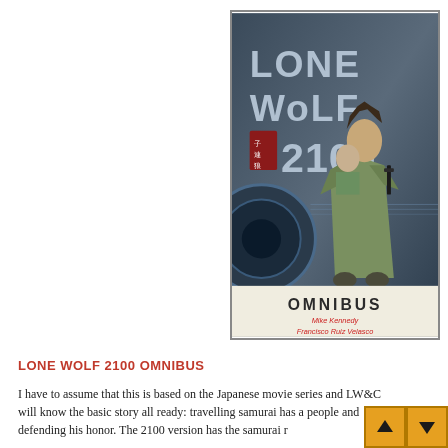[Figure (illustration): Book cover of Lone Wolf 2100 Omnibus showing a samurai figure in green robes carrying a child on his back, with futuristic mechanical elements in the background. Title text reads 'LONE WOLF 2100' with a red Japanese kanji seal, and at the bottom 'OMNIBUS' with authors 'Mike Kennedy' and 'Francisco Ruiz Velasco'.]
LONE WOLF 2100 OMNIBUS
I have to assume that this is based on the Japanese movie series and LW&C will know the basic story all ready: travelling samurai has a people and defending his honor. The 2100 version has the samurai r